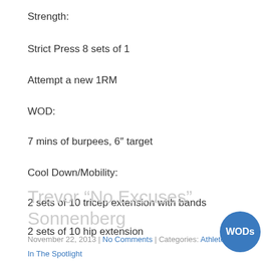Strength:
Strict Press 8 sets of 1
Attempt a new 1RM
WOD:
7 mins of burpees, 6″ target
Cool Down/Mobility:
2 sets of 10 tricep extension with bands
2 sets of 10 hip extension
Trevor “No Excuses” Sonnenberg
November 22, 2013 | No Comments | Categories: Athlete In The Spotlight